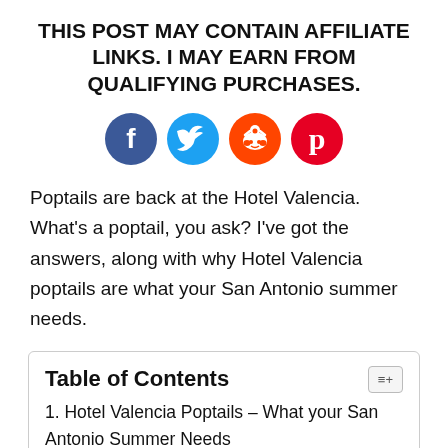THIS POST MAY CONTAIN AFFILIATE LINKS. I MAY EARN FROM QUALIFYING PURCHASES.
[Figure (illustration): Four social media share buttons: Facebook (blue circle with f), Twitter (light blue circle with bird), Reddit (orange circle with alien), Pinterest (red circle with P)]
Poptails are back at the Hotel Valencia. What’s a poptail, you ask? I’ve got the answers, along with why Hotel Valencia poptails are what your San Antonio summer needs.
Table of Contents
1. Hotel Valencia Poptails – What your San Antonio Summer Needs
2. Poptails are back at Hotel Valencia Riverwalk